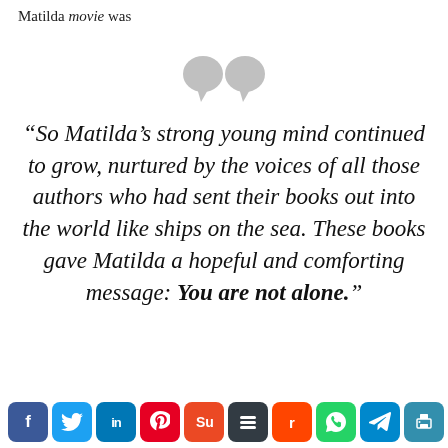Matilda movie was
[Figure (illustration): Large decorative gray quotation mark symbol]
“So Matilda’s strong young mind continued to grow, nurtured by the voices of all those authors who had sent their books out into the world like ships on the sea. These books gave Matilda a hopeful and comforting message: You are not alone.”
[Figure (infographic): Social media share buttons: Facebook (blue), Twitter (light blue), LinkedIn (blue), Pinterest (red), Stumbleupon (orange-red), Buffer (dark gray), Reddit (orange), WhatsApp (green), Telegram (teal), Print (teal-blue), followed by text 'ctually in the']